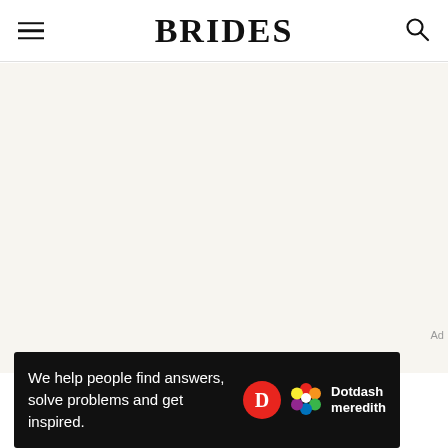BRIDES
[Figure (screenshot): Large blank cream/off-white content area below the Brides header navigation]
Ad
[Figure (infographic): Dotdash Meredith advertisement banner: 'We help people find answers, solve problems and get inspired.' with Dotdash D logo and colorful Meredith flower logo]